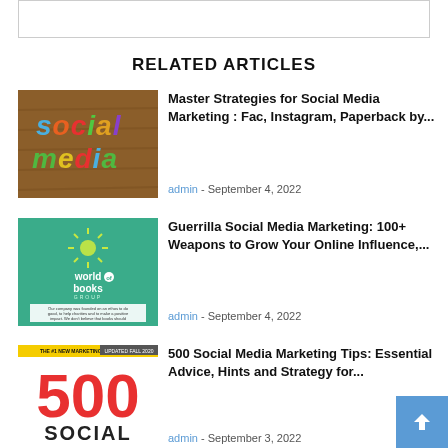[Figure (other): Empty box at top of page]
RELATED ARTICLES
[Figure (photo): Social media colorful letters on wooden background]
Master Strategies for Social Media Marketing : Fac, Instagram, Paperback by...
admin - September 4, 2022
[Figure (photo): World of Books cover - green background with company text]
Guerrilla Social Media Marketing: 100+ Weapons to Grow Your Online Influence,...
admin - September 4, 2022
[Figure (photo): 500 Social Media Marketing Tips book cover with red numbers and yellow banner]
500 Social Media Marketing Tips: Essential Advice, Hints and Strategy for...
admin - September 3, 2022